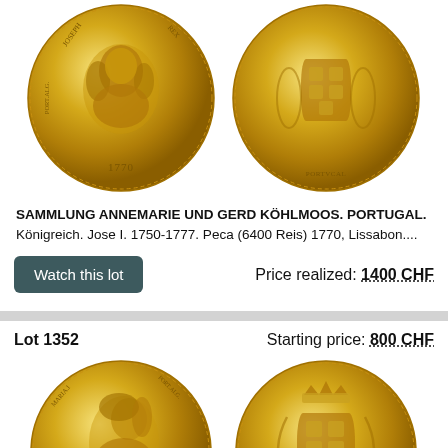[Figure (photo): Two gold coins shown side by side: obverse (left) showing portrait of Jose I with date 1770, reverse (right) showing Portuguese royal coat of arms.]
SAMMLUNG ANNEMARIE UND GERD KÖHLMOOS. PORTUGAL. Königreich. Jose I. 1750-1777. Peca (6400 Reis) 1770, Lissabon....
Watch this lot
Price realized: 1400 CHF
Lot 1352
Starting price: 800 CHF
[Figure (photo): Two gold coins shown side by side: obverse (left) showing portrait of Maria I, reverse (right) showing Portuguese royal coat of arms with crown.]